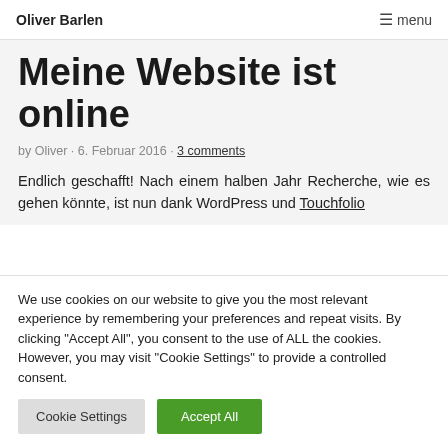Oliver Barlen   ☰ menu
Meine Website ist online
by Oliver · 6. Februar 2016 · 3 comments
Endlich geschafft! Nach einem halben Jahr Recherche, wie es gehen könnte, ist nun dank WordPress und Touchfolio
We use cookies on our website to give you the most relevant experience by remembering your preferences and repeat visits. By clicking "Accept All", you consent to the use of ALL the cookies. However, you may visit "Cookie Settings" to provide a controlled consent.